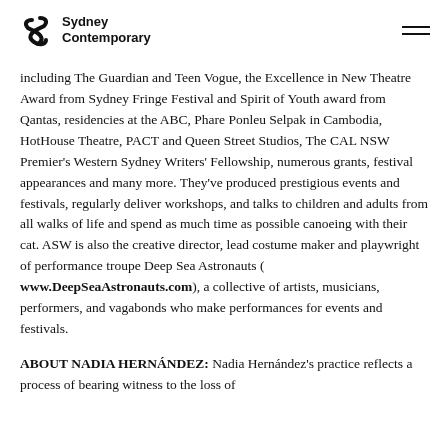Sydney Contemporary
including The Guardian and Teen Vogue, the Excellence in New Theatre Award from Sydney Fringe Festival and Spirit of Youth award from Qantas, residencies at the ABC, Phare Ponleu Selpak in Cambodia, HotHouse Theatre, PACT and Queen Street Studios, The CAL NSW Premier's Western Sydney Writers' Fellowship, numerous grants, festival appearances and many more. They've produced prestigious events and festivals, regularly deliver workshops, and talks to children and adults from all walks of life and spend as much time as possible canoeing with their cat. ASW is also the creative director, lead costume maker and playwright of performance troupe Deep Sea Astronauts (www.DeepSeaAstronauts.com), a collective of artists, musicians, performers, and vagabonds who make performances for events and festivals.
ABOUT NADIA HERNÁNDEZ: Nadia Hernández's practice reflects a process of bearing witness to the loss of